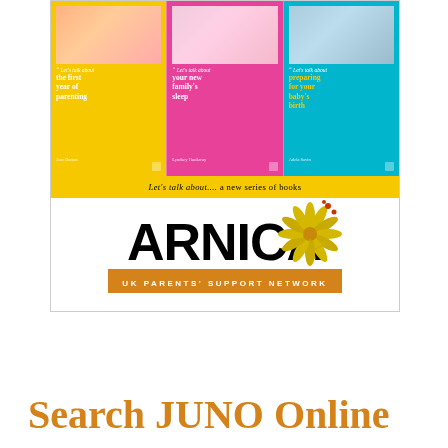[Figure (illustration): Advertisement box showing three book covers from the 'Let's talk about...' series: yellow cover (first year of parenting), pink cover (your new family's sleep), teal cover (preparing for your baby's birth). Below the books is a banner reading 'Let's talk about.... a new series of books'. Below that is the Arnica UK Parents' Support Network logo with flower illustration and orange subtitle bar.]
Search JUNO Online